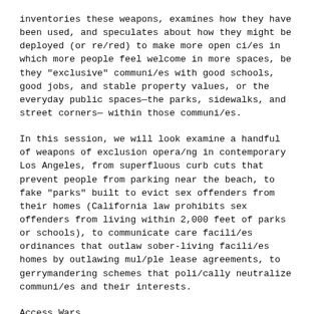inventories these weapons, examines how they have been used, and speculates about how they might be deployed (or re/red) to make more open ci/es in which more people feel welcome in more spaces, be they "exclusive" communi/es with good schools, good jobs, and stable property values, or the everyday public spaces—the parks, sidewalks, and street corners— within those communi/es.
In this session, we will look examine a handful of weapons of exclusion opera/ng in contemporary Los Angeles, from superfluous curb cuts that prevent people from parking near the beach, to fake "parks" built to evict sex offenders from their homes (California law prohibits sex offenders from living within 2,000 feet of parks or schools), to communicate care facili/es ordinances that outlaw sober-living facili/es homes by outlawing mul/ple lease agreements, to gerrymandering schemes that poli/cally neutralize communi/es and their interests.
Access Wars